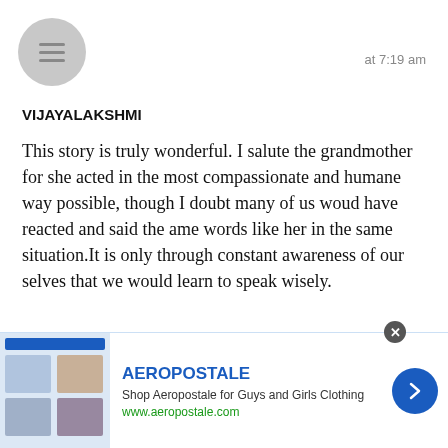[Figure (illustration): Gray circular avatar with hamburger menu icon]
at 7:19 am
VIJAYALAKSHMI
This story is truly wonderful. I salute the grandmother for she acted in the most compassionate and humane way possible, though I doubt many of us woud have reacted and said the ame words like her in the same situation.It is only through constant awareness of our selves that we would learn to speak wisely.
[Figure (photo): Circular avatar showing a woman's face with dark hair and red lips]
at 7:13 am
[Figure (screenshot): Aeropostale advertisement banner with logo, text and navigation arrow]